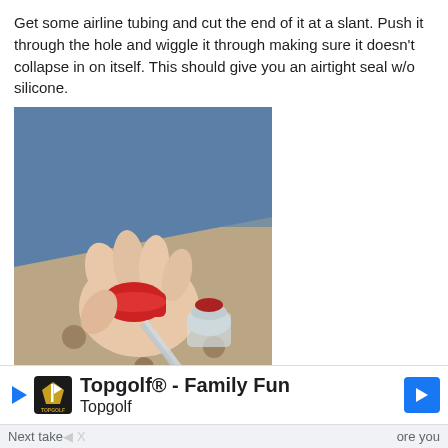Get some airline tubing and cut the end of it at a slant. Push it through the hole and wiggle it through making sure it doesn't collapse in on itself. This should give you an airtight seal w/o silicone.
[Figure (photo): A hand holding a red bottle cap connected to airline tubing, next to a smaller clear bottle with a cap, and a green plastic bottle in the foreground. Taken on a patterned carpet with a denim jacket in the background.]
Topgolf® - Family Fun | Topgolf [advertisement]
Next take... | ...ore you